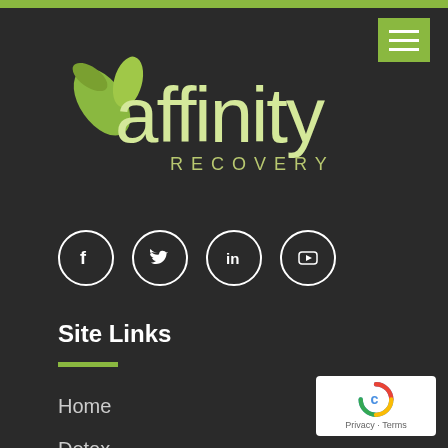[Figure (logo): Affinity Recovery logo with green leaf icon and stylized text 'affinity RECOVERY' in light yellow-green on dark background]
[Figure (infographic): Four social media icons in white circles: Facebook (f), Twitter (bird), LinkedIn (in), YouTube (play button)]
Site Links
Home
Detox
Treatment
Location